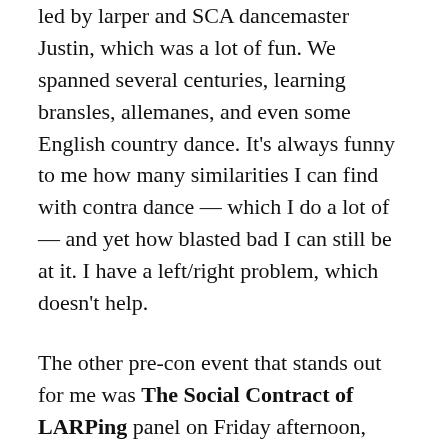led by larper and SCA dancemaster Justin, which was a lot of fun. We spanned several centuries, learning bransles, allemanes, and even some English country dance. It's always funny to me how many similarities I can find with contra dance — which I do a lot of — and yet how blasted bad I can still be at it. I have a left/right problem, which doesn't help.
The other pre-con event that stands out for me was The Social Contract of LARPing panel on Friday afternoon, which was near and dear to my heart after a post I wrote years ago on just that topic. I already knew, going in, about the many unspoken assumptions of the larp community (and the Intercon community in particular); but this brought to light many I